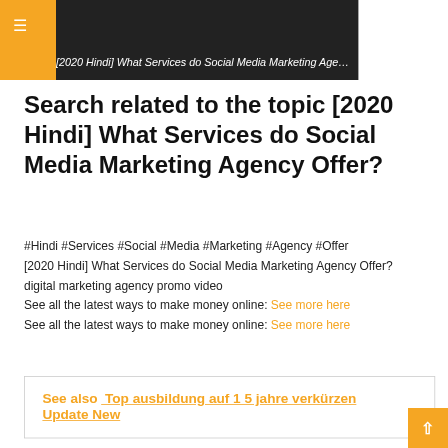[2020 Hindi] What Services do Social Media Marketing Agency Offer?
Search related to the topic [2020 Hindi] What Services do Social Media Marketing Agency Offer?
#Hindi #Services #Social #Media #Marketing #Agency #Offer
[2020 Hindi] What Services do Social Media Marketing Agency Offer?
digital marketing agency promo video
See all the latest ways to make money online: See more here
See all the latest ways to make money online: See more here
See also  Top ausbildung auf 1 5 jahre verkürzen Update New
Articles compiled by Tratamientorosacea.com. See more